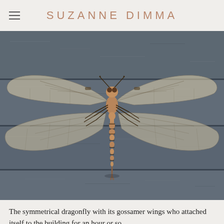SUZANNE DIMMA
[Figure (photo): A dragonfly with symmetrical gossamer wings resting on a grey textured surface, photographed from above. The dragonfly has a golden-brown body with black banding and intricate, detailed wings.]
The symmetrical dragonfly with its gossamer wings who attached itself to the building for an hour or so.